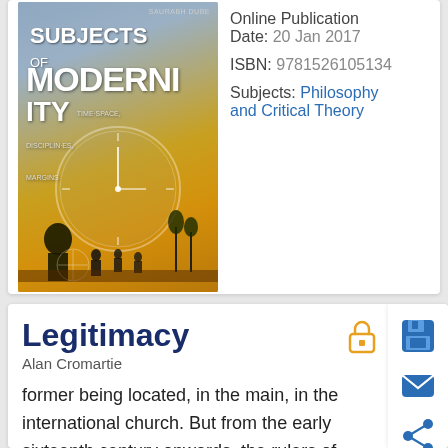[Figure (illustration): Book cover for 'Subjects of Modernity' by Saurabh Dube, showing silhouettes of people against an orange/golden sky with large clock imagery in the background]
Online Publication Date: 20 Jan 2017
ISBN: 9781526105134
Subjects: Philosophy and Critical Theory
Legitimacy
Alan Cromartie
former being located, in the main, in the international church. But from the early sixteenth century onwards, the rulers of many communities were forced to decide for